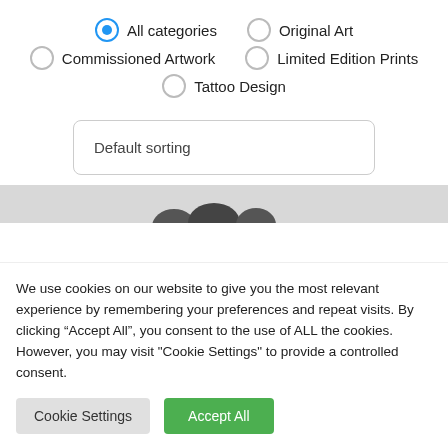All categories (selected), Original Art
Commissioned Artwork, Limited Edition Prints
Tattoo Design
Default sorting
[Figure (screenshot): Partial view of image thumbnails, partially cut off at bottom]
We use cookies on our website to give you the most relevant experience by remembering your preferences and repeat visits. By clicking “Accept All”, you consent to the use of ALL the cookies. However, you may visit "Cookie Settings" to provide a controlled consent.
Cookie Settings | Accept All